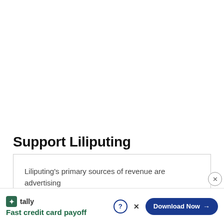Support Liliputing
Liliputing's primary sources of revenue are advertising and ... top of th... le,
[Figure (infographic): Advertisement banner for Tally app showing 'Fast credit card payoff' with a 'Download Now' button, a help icon, and a close icon.]